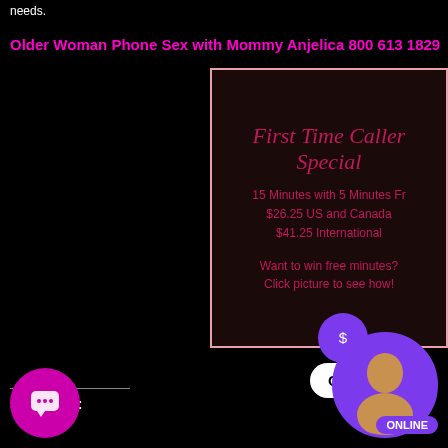needs.
Older Woman Phone Sex with Mommy Anjelica 800 613 1829
[Figure (infographic): Black background promotional card with pink border. Title in cursive: 'First Time Caller Special'. Text: '15 Minutes with 5 Minutes Fr... $26.25 US and Canada $41.25 International'. Footer: 'Want to win free minutes? Click picture to see how!']
Share this:
[Figure (infographic): Row of social sharing icons: Reddit (gray), Facebook (blue), Twitter (cyan), Tumblr (dark blue), Pinterest (red), Cash App (purple). Purple chat widget with speech bubble icon (bottom left). 'Chat Now' white pill button. Purple circle avatar with woman photo and ONLINE badge.]